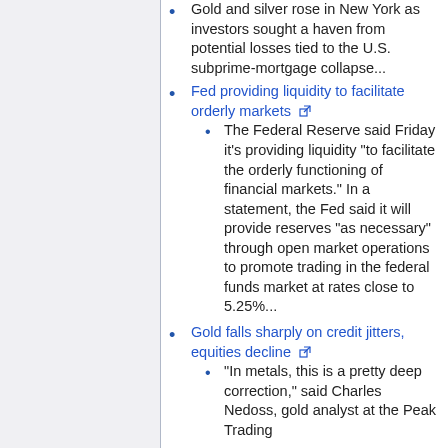Gold and silver rose in New York as investors sought a haven from potential losses tied to the U.S. subprime-mortgage collapse...
Fed providing liquidity to facilitate orderly markets
The Federal Reserve said Friday it's providing liquidity "to facilitate the orderly functioning of financial markets." In a statement, the Fed said it will provide reserves "as necessary" through open market operations to promote trading in the federal funds market at rates close to 5.25%...
Gold falls sharply on credit jitters, equities decline
"In metals, this is a pretty deep correction," said Charles Nedoss, gold analyst at the Peak Trading